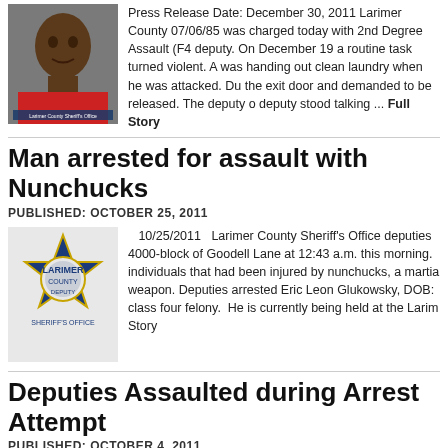[Figure (photo): Mugshot of a man in a red shirt, Larimer County Sheriff's Office]
Press Release Date: December 30, 2011 Larimer County 07/06/85 was charged today with 2nd Degree Assault (F4 deputy. On December 19 a routine task turned violent. A was handing out clean laundry when he was attacked. Du the exit door and demanded to be released. The deputy o deputy stood talking ... Full Story
Man arrested for assault with Nunchucks
PUBLISHED: OCTOBER 25, 2011
[Figure (logo): Larimer County Sheriff's Office badge/seal]
10/25/2011   Larimer County Sheriff's Office deputies 4000-block of Goodell Lane at 12:43 a.m. this morning. individuals that had been injured by nunchucks, a martia weapon. Deputies arrested Eric Leon Glukowsky, DOB: class four felony.  He is currently being held at the Larim Story
Deputies Assaulted during Arrest Attempt
PUBLISHED: OCTOBER 4, 2011
[Figure (photo): Mugshot of a man, Larimer County Sheriff's Office]
Date:   October 4, 2011 Larimer County Sheriff's Office Jr., DOB: 010478, of Fort Collins, on several felony cour Assault on a Police Officer. Deputies were called to the 8 approximately 5:00 p.m. yesterday on the report of a dom attempted to talk with Frank Runyan about the complain